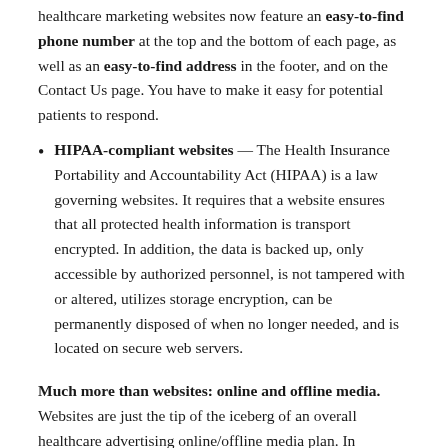healthcare marketing websites now feature an easy-to-find phone number at the top and the bottom of each page, as well as an easy-to-find address in the footer, and on the Contact Us page. You have to make it easy for potential patients to respond.
HIPAA-compliant websites — The Health Insurance Portability and Accountability Act (HIPAA) is a law governing websites. It requires that a website ensures that all protected health information is transport encrypted. In addition, the data is backed up, only accessible by authorized personnel, is not tampered with or altered, utilizes storage encryption, can be permanently disposed of when no longer needed, and is located on secure web servers.
Much more than websites: online and offline media. Websites are just the tip of the iceberg of an overall healthcare advertising online/offline media plan. In addition, organic search, paid